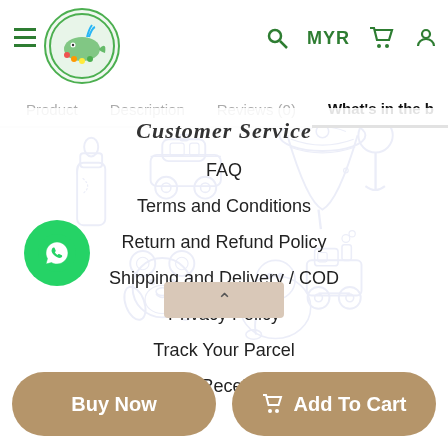[Figure (screenshot): E-commerce website header with hamburger menu, circular logo with whale illustration, search icon, MYR currency selector, cart icon, and user icon in green]
Product   Description   Reviews (0)   What's in the b
[Figure (illustration): Baby toys doodle background illustration showing toy car, baby bottle, spinning top, train, teddy bear, rattle — all in purple/blue line art style]
Customer Service
FAQ
Terms and Conditions
Return and Refund Policy
Shipping and Delivery / COD
Privacy Policy
Track Your Parcel
Payment Receipt Upload
[Figure (logo): Green circular WhatsApp button with white WhatsApp icon]
Buy Now
Add To Cart